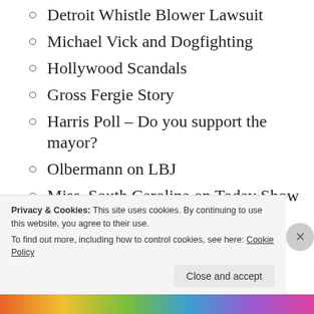Detroit Whistle Blower Lawsuit
Michael Vick and Dogfighting
Hollywood Scandals
Gross Fergie Story
Harris Poll – Do you support the mayor?
Olbermann on LBJ
Miss. South Carolina on Today Show
Drew's Homo Story
Trudi News
Homo Locations
Sports
Privacy & Cookies: This site uses cookies. By continuing to use this website, you agree to their use.
To find out more, including how to control cookies, see here: Cookie Policy
[Figure (other): Colorful decorative banner strip at bottom of page]